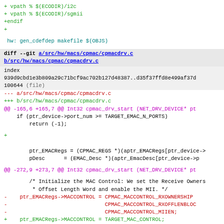+ vpath % $(ECODIR)/i2c
+ vpath % $(ECODIR)/sgmii
+endif
+
hw: gen_cdefdep makefile $(OBJS)
diff --git a/src/hw/macs/cpmac/cpmacdrv.c b/src/hw/macs/cpmac/cpmacdrv.c
index
939d9cbd1e3b809a29c71bcf9ac702b127d48387..d35f37ffd8e499af37d
100644 (file)
--- a/src/hw/macs/cpmac/cpmacdrv.c
+++ b/src/hw/macs/cpmac/cpmacdrv.c
@@ -165,6 +165,7 @@ Int32 cpmac_drv_start (NET_DRV_DEVICE* pt
if (ptr_device->port_num >= TARGET_EMAC_N_PORTS)
        return (-1);
+

        ptr_EMACRegs = (CPMAC_REGS *)(aptr_EMACRegs[ptr_device->
        pDesc      = (EMAC_Desc *)(aptr_EmacDesc[ptr_device->p
@@ -272,9 +273,7 @@ Int32 cpmac_drv_start (NET_DRV_DEVICE* pt
/* Initialize the MAC Control: We set the Receive Owners
     * Offset Length Word and enable the MII. */
-    ptr_EMACRegs->MACCONTROL = CPMAC_MACCONTROL_RXOWNERSHIP
-                               CPMAC_MACCONTROL_RXOFFLENBLOC
-                               CPMAC_MACCONTROL_MIIEN;
+    ptr_EMACRegs->MACCONTROL = TARGET_MAC_CONTROL;